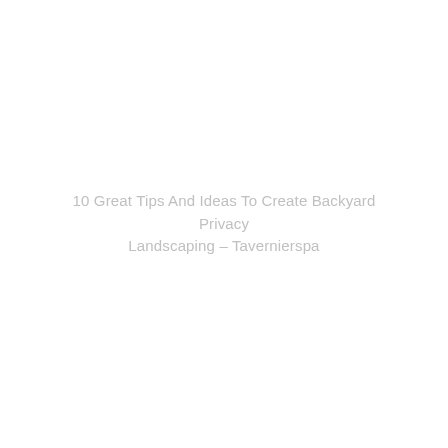10 Great Tips And Ideas To Create Backyard Privacy Landscaping – Tavernierspa